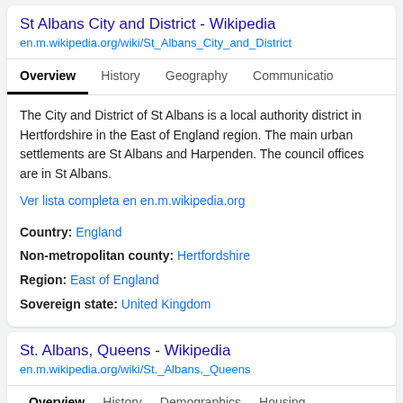St Albans City and District - Wikipedia
en.m.wikipedia.org/wiki/St_Albans_City_and_District
Overview   History   Geography   Communications
The City and District of St Albans is a local authority district in Hertfordshire in the East of England region. The main urban settlements are St Albans and Harpenden. The council offices are in St Albans.
Ver lista completa en en.m.wikipedia.org
Country: England
Non-metropolitan county: Hertfordshire
Region: East of England
Sovereign state: United Kingdom
St. Albans, Queens - Wikipedia
en.m.wikipedia.org/wiki/St._Albans,_Queens
Overview   History   Demographics   Housing